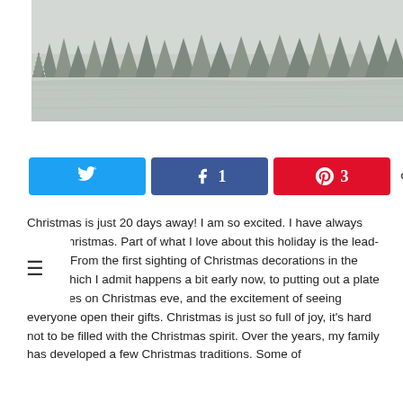[Figure (photo): Black and white winter landscape photograph showing snow-covered conifer trees along a frozen river or lake shore under an overcast sky.]
[Figure (infographic): Social share buttons: Twitter (no count), Facebook (1 share), Pinterest (3 shares), total 4 SHARES]
Christmas is just 20 days away! I am so excited. I have always loved Christmas. Part of what I love about this holiday is the lead-up to it. From the first sighting of Christmas decorations in the store, which I admit happens a bit early now, to putting out a plate of cookies on Christmas eve, and the excitement of seeing everyone open their gifts. Christmas is just so full of joy, it's hard not to be filled with the Christmas spirit. Over the years, my family has developed a few Christmas traditions. Some of